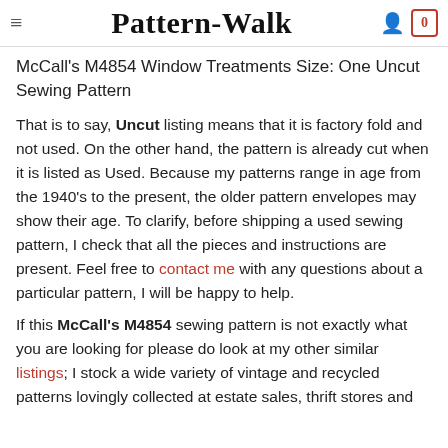Pattern-Walk
McCall's M4854 Window Treatments Size: One Uncut Sewing Pattern
That is to say, Uncut listing means that it is factory fold and not used. On the other hand, the pattern is already cut when it is listed as Used. Because my patterns range in age from the 1940's to the present, the older pattern envelopes may show their age. To clarify, before shipping a used sewing pattern, I check that all the pieces and instructions are present. Feel free to contact me with any questions about a particular pattern, I will be happy to help.
If this McCall's M4854 sewing pattern is not exactly what you are looking for please do look at my other similar listings; I stock a wide variety of vintage and recycled patterns lovingly collected at estate sales, thrift stores and